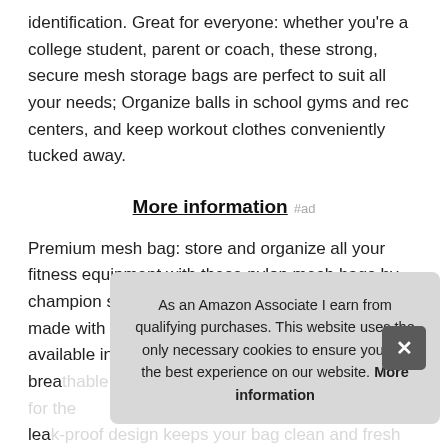identification. Great for everyone: whether you're a college student, parent or coach, these strong, secure mesh storage bags are perfect to suit all your needs; Organize balls in school gyms and rec centers, and keep workout clothes conveniently tucked away.
More information #ad
Premium mesh bag: store and organize all your fitness equipment with these nylon mesh bags by champion sports; Our sports equipment bags are made with heavy duty, durable nylon, and are available in 9 vibrant colors. Lightweight and breathable...
As an Amazon Associate I earn from qualifying purchases. This website uses the only necessary cookies to ensure you get the best experience on our website. More information
Versatile stuff sack: these sports equipment bags are